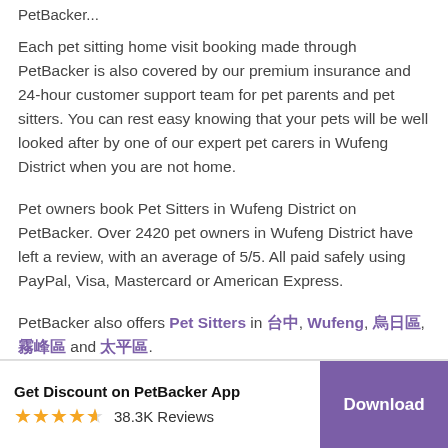PetBacker...
Each pet sitting home visit booking made through PetBacker is also covered by our premium insurance and 24-hour customer support team for pet parents and pet sitters. You can rest easy knowing that your pets will be well looked after by one of our expert pet carers in Wufeng District when you are not home.
Pet owners book Pet Sitters in Wufeng District on PetBacker. Over 2420 pet owners in Wufeng District have left a review, with an average of 5/5. All paid safely using PayPal, Visa, Mastercard or American Express.
PetBacker also offers Pet Sitters in 台中, Wufeng, 烏日區, 霧峰區 and 太平區.
Get Discount on PetBacker App  38.3K Reviews  Download